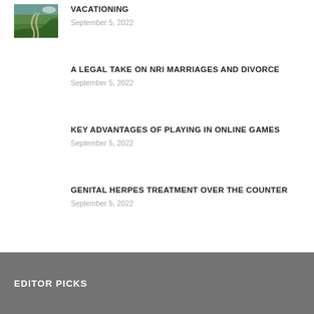[Figure (photo): Small landscape thumbnail showing a winding road through green hills/mountains]
VACATIONING
September 5, 2022
A LEGAL TAKE ON NRI MARRIAGES AND DIVORCE
September 5, 2022
KEY ADVANTAGES OF PLAYING IN ONLINE GAMES
September 5, 2022
GENITAL HERPES TREATMENT OVER THE COUNTER
September 5, 2022
EDITOR PICKS